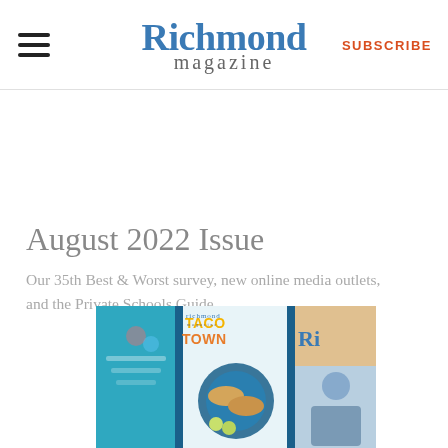Richmond magazine — SUBSCRIBE
August 2022 Issue
Our 35th Best & Worst survey, new online media outlets, and the Private Schools Guide
[Figure (photo): Magazine covers displayed side by side, including one with 'TACO TOWN' text, a food photo with tacos, and other Richmond magazine covers]